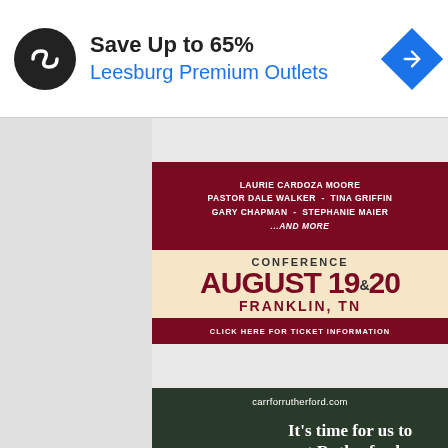[Figure (screenshot): Google ad banner: circular black logo with infinity-like symbol, text 'Save Up to 65%' in bold black and 'Leesburg Premium Outlets' in blue, blue diamond navigation icon on right]
[Figure (infographic): Conference advertisement with dark red and cream sections. Speakers listed: Laurie Cardoza Moore, Pastor Dale Walker, Tina Griffin, Gary Chapman, Stephanie Maier ...and more. Conference August 19 & 20, Franklin, TN. Click here for ticket information.]
[Figure (photo): Joe Carr political campaign ad. Website: carrforrutherford.com. Text: It's time for us to put Rutherford County First! Shows man in wide-brim hat outdoors. Name 'CARR' displayed at bottom.]